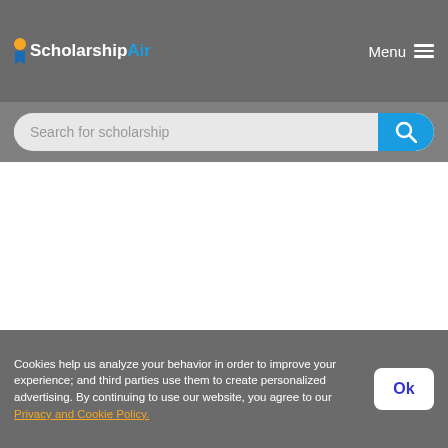ScholarshipAir  Menu
Search for scholarship
Requirements for Miles Morland Writing Scholarships Qualification
Cookies help us analyze your behavior in order to improve your experience; and third parties use them to create personalized advertising. By continuing to use our website, you agree to our Privacy and Cookie Policy.